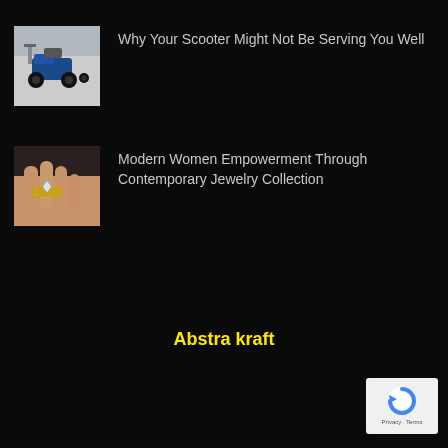[Figure (photo): Photo of a mobility scooter in a room]
Why Your Scooter Might Not Be Serving You Well
[Figure (photo): Photo of a hand holding a gold ring with a diamond]
Modern Women Empowerment Through Contemporary Jewelry Collection
Abstra kraft
[Figure (logo): reCAPTCHA badge with Privacy and Terms links]